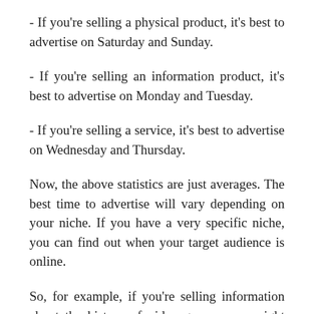- If you're selling a physical product, it's best to advertise on Saturday and Sunday.
- If you're selling an information product, it's best to advertise on Monday and Tuesday.
- If you're selling a service, it's best to advertise on Wednesday and Thursday.
Now, the above statistics are just averages. The best time to advertise will vary depending on your niche. If you have a very specific niche, you can find out when your target audience is online.
So, for example, if you're selling information about the history of video games, you might want